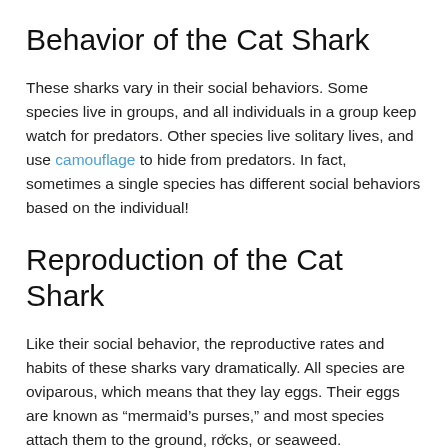Behavior of the Cat Shark
These sharks vary in their social behaviors. Some species live in groups, and all individuals in a group keep watch for predators. Other species live solitary lives, and use camouflage to hide from predators. In fact, sometimes a single species has different social behaviors based on the individual!
Reproduction of the Cat Shark
Like their social behavior, the reproductive rates and habits of these sharks vary dramatically. All species are oviparous, which means that they lay eggs. Their eggs are known as “mermaid’s purses,” and most species attach them to the ground, rocks, or seaweed.
x